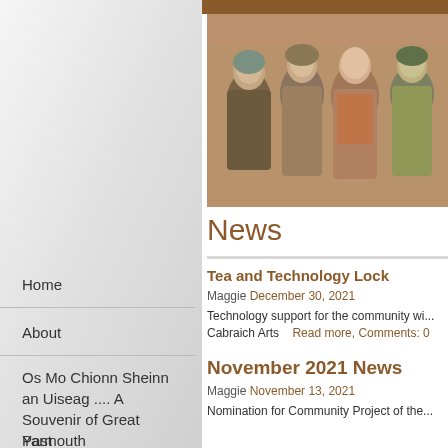[Figure (photo): Vintage photograph of a group of women in traditional clothing, appearing to be from the early 20th century, with warm sepia/color tones]
News
Home
About
Os Mo Chionn Sheinn an Uiseag .... A Souvenir of Great Yarmouth
Past
Tea and Technology Lock
Maggie December 30, 2021
Technology support for the community wi... Cabraich Arts    Read more, Comments: 0
November 2021 News
Maggie November 13, 2021
Nomination for Community Project of the...